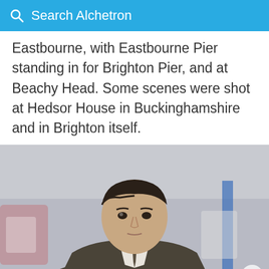Search Alchetron
Eastbourne, with Eastbourne Pier standing in for Brighton Pier, and at Beachy Head. Some scenes were shot at Hedsor House in Buckinghamshire and in Brighton itself.
[Figure (photo): A young man in a 1940s-style suit and tie pointing a handgun toward the camera, with a fairground blurred in the background. A close-up button with an X appears bottom right, and a red Covid-19 badge appears in the bottom-right corner.]